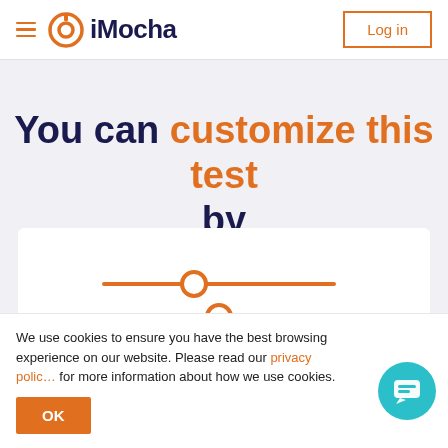iMocha — Log in
You can customize this test by
[Figure (illustration): Slider/filter controls icon with two horizontal orange sliders with circular handles on a white card background]
We use cookies to ensure you have the best browsing experience on our website. Please read our privacy policy for more information about how we use cookies.